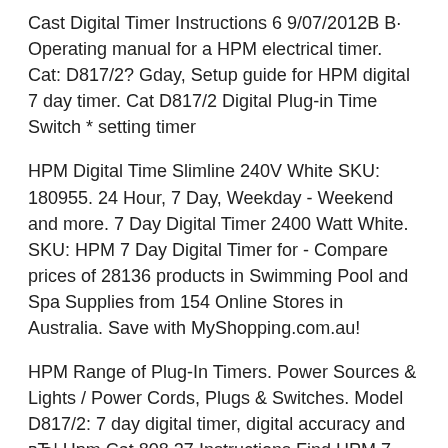Cast Digital Timer Instructions 6 9/07/2012B B· Operating manual for a HPM electrical timer. Cat: D817/2? Gday, Setup guide for HPM digital 7 day timer. Cat D817/2 Digital Plug-in Time Switch * setting timer
HPM Digital Time Slimline 240V White SKU: 180955. 24 Hour, 7 Day, Weekday - Weekend and more. 7 Day Digital Timer 2400 Watt White. SKU: HPM 7 Day Digital Timer for - Compare prices of 28136 products in Swimming Pool and Spa Supplies from 154 Online Stores in Australia. Save with MyShopping.com.au!
HPM Range of Plug-In Timers. Power Sources & Lights / Power Cords, Plugs & Switches. Model D817/2: 7 day digital timer, digital accuracy and вЂ¦ Hpm Cat 808 27 Instructions Find HPM 7 Day Digital Timer for the lowest prices at Bunnings Warehouse. Visit your local store for 23-27 Nepean